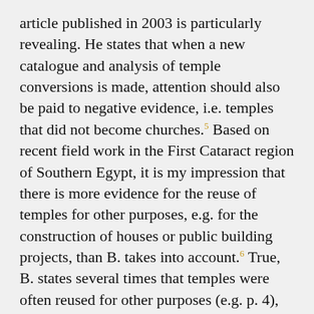article published in 2003 is particularly revealing. He states that when a new catalogue and analysis of temple conversions is made, attention should also be paid to negative evidence, i.e. temples that did not become churches.5 Based on recent field work in the First Cataract region of Southern Egypt, it is my impression that there is more evidence for the reuse of temples for other purposes, e.g. for the construction of houses or public building projects, than B. takes into account.6 True, B. states several times that temples were often reused for other purposes (e.g. p. 4), but he mainly concentrates on the temple to church conversions 'given that we know of relatively few temples that were converted into anything other than churches' (p. 7). I doubt that this